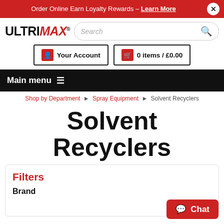Order Online Earn Loyalty Rewards – Learn More
[Figure (logo): ULTRIMAX logo with red italic MAX lettering and registered trademark symbol]
Search
Your Account
0 items / £0.00
Main menu
Shop by Department › Spray Equipment › Solvent Recyclers
Solvent Recyclers
Filters
Brand